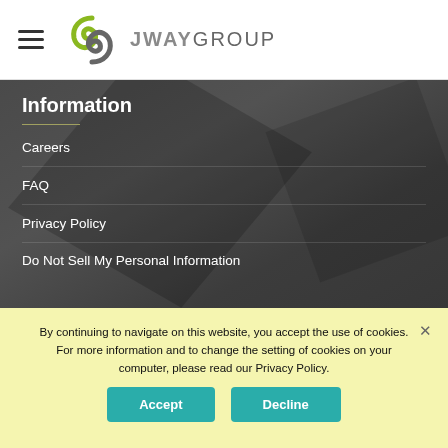[Figure (logo): JWAY GROUP logo with circular green and grey swoosh icon and text JWAYGROUP]
Information
Careers
FAQ
Privacy Policy
Do Not Sell My Personal Information
By continuing to navigate on this website, you accept the use of cookies. For more information and to change the setting of cookies on your computer, please read our Privacy Policy.
Accept
Decline